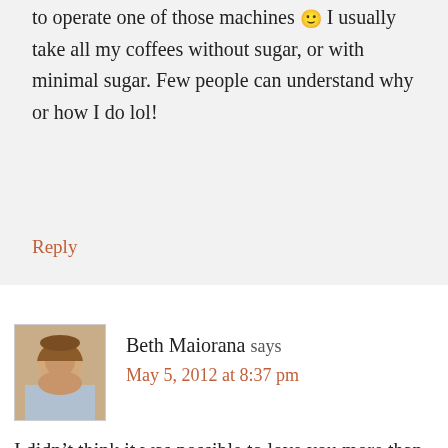to operate one of those machines 🙂 I usually take all my coffees without sugar, or with minimal sugar. Few people can understand why or how I do lol!
Reply
Beth Maiorana says
May 5, 2012 at 8:37 pm
I didn't think it was possible to love you more than when I first subscribed, but you are